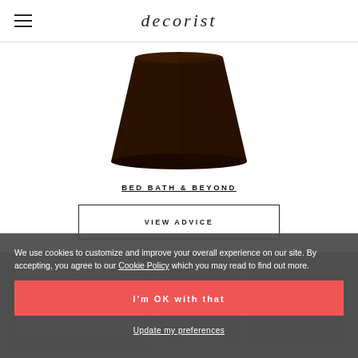decorist
[Figure (photo): Dark brown/black cone-shaped lamp shade product photo on white background]
BED BATH & BEYOND
VIEW ADVICE
[Figure (photo): Dimmed interior design room image partially visible behind cookie consent overlay]
We use cookies to customize and improve your overall experience on our site. By accepting, you agree to our Cookie Policy which you may read to find out more.
I'm OK with that
Update my preferences